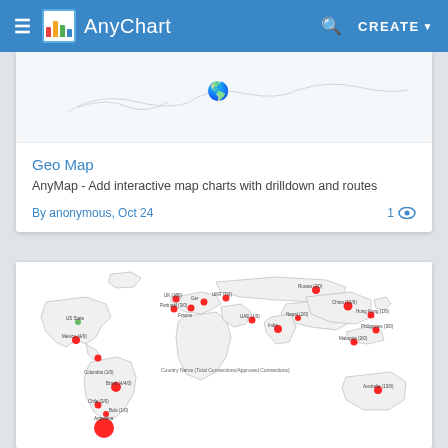AnyChart — CREATE
[Figure (map): Partial world map (Geo Map preview) shown at top of card, partially cropped]
Geo Map
AnyMap - Add interactive map charts with drilldown and routes
By anonymous, Oct 24
1 (views)
[Figure (map): World bubble map with red circles of varying sizes placed on countries: Argentina (large red), Brazil, Mexico, Colombia, US State, Portugal, France, UK, Germany, Ukraine, Russia, China, Nepal, Hong Kong, Philippines, Malaysia, Australia, and others. Labels show Country Name (Total Connections/Approved Connections).]